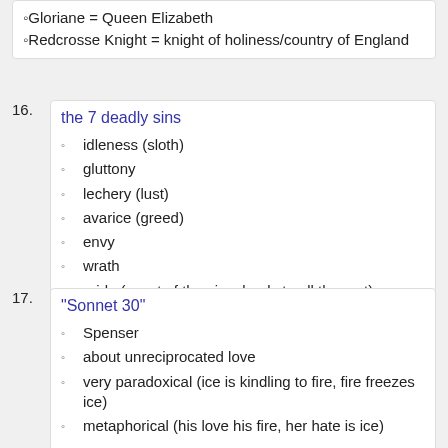Gloriane = Queen Elizabeth
Redcrosse Knight = knight of holiness/country of England
the 7 deadly sins
idleness (sloth)
gluttony
lechery (lust)
avarice (greed)
envy
wrath
pride (worst of the sins, leads to all the rest)
"Sonnet 30"
Spenser
about unreciprocated love
very paradoxical (ice is kindling to fire, fire freezes ice)
metaphorical (his love his fire, her hate is ice)